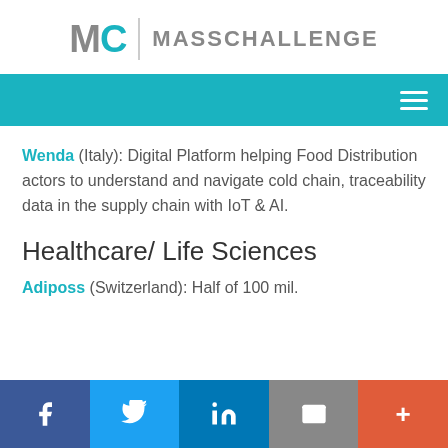[Figure (logo): MassChallenge logo with MC letters and MASSCHALLENGE wordmark]
[Figure (other): Teal navigation bar with hamburger menu icon]
Wenda (Italy): Digital Platform helping Food Distribution actors to understand and navigate cold chain, traceability data in the supply chain with IoT & AI.
Healthcare/ Life Sciences
Adiposs (Switzerland): Half of 100 mil.
[Figure (other): Social sharing bar with Facebook, Twitter, LinkedIn, email, and more buttons]